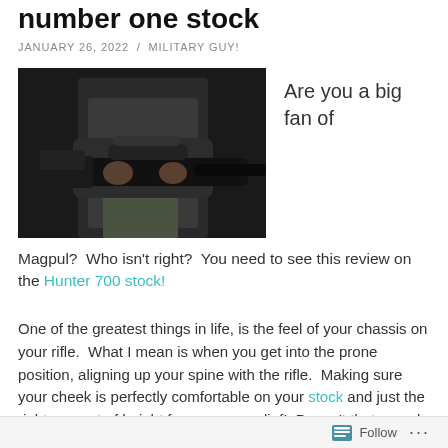number one stock
JANUARY 26, 2022 / MILITARY GUY!
[Figure (photo): Person holding a Magpul Hunter 700 rifle stock, dark background]
Are you a big fan of
Magpul?  Who isn't right?  You need to see this review on the Hunter 700 stock!
One of the greatest things in life, is the feel of your chassis on your rifle.  What I mean is when you get into the prone position, aligning up your spine with the rifle.  Making sure your cheek is perfectly comfortable on your stock and just the right amount of height for your eye relief!  Doesn't that sound amazing?  Well it should!
Follow